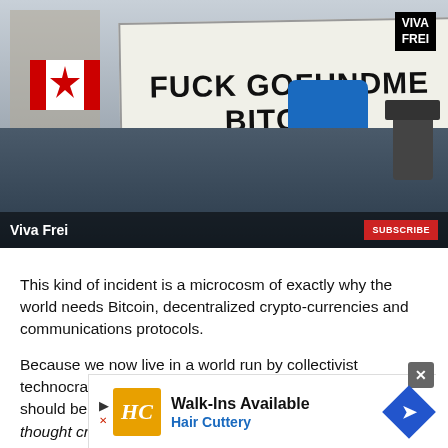[Figure (photo): Protest scene with sign reading 'FUCK GOFUNDME BITCOIN FIXES THIS', Canadian flag visible on left, person in blue jacket on right, 'Viva Frei' watermark bottom-left, VIVA FREI logo top-right, SUBSCRIBE button bottom-right.]
This kind of incident is a microcosm of exactly why the world needs Bitcoin, decentralized crypto-currencies and communications protocols.
Because we now live in a world run by collectivist technocrats. They sincerely think that what they believe should be rules and what you or I believe should be thought crimes.
On its c... perpetv...